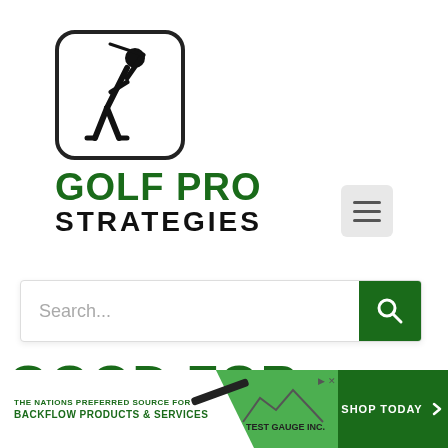[Figure (logo): Golf Pro Strategies logo: rounded square with stick figure golfer swinging a club, bold text GOLF PRO STRATEGIES below]
[Figure (other): Hamburger menu icon (three horizontal lines) on light gray rounded button]
Search...
GOOD FOR YOU?
[Figure (other): Dropdown selector button with chevron down arrow]
[Figure (other): Advertisement banner: Test Gauge Inc. - The Nations Preferred Source for Backflow Products & Services. Shop Today button.]